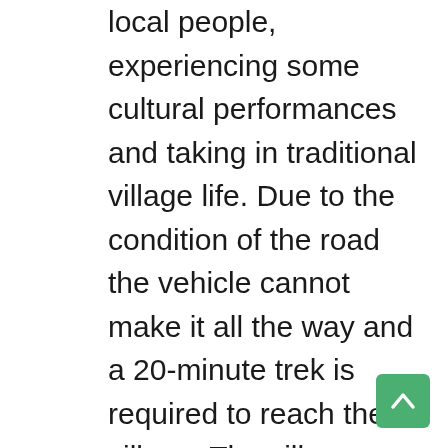local people, experiencing some cultural performances and taking in traditional village life. Due to the condition of the road the vehicle cannot make it all the way and a 20-minute trek is required to reach the village. The villagers will greet you with a welcome dance and walk you into their home. Try your hand at archery, see a traditional sing-sing and help prepare a traditional Mumu lunch. In Akemeku the food is stuffed into bamboo pieces and these placed on hot rocks. The whole stack is covered by banana leaves and soil. While the food is cooking we enjoy the various performances the villagers have prepared for us and then take a walk to a nearby waterfall, walking through the village's coffee plantation. After lunch it's time to say goodbye as we head